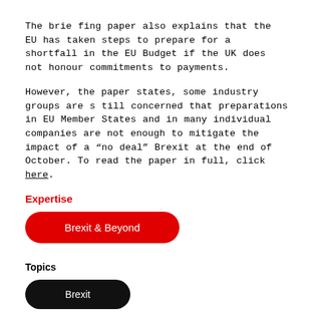The briefing paper also explains that the EU has taken steps to prepare for a shortfall in the EU Budget if the UK does not honour commitments to payments.
However, the paper states, some industry groups are still concerned that preparations in EU Member States and in many individual companies are not enough to mitigate the impact of a "no deal" Brexit at the end of October. To read the paper in full, click here.
Expertise
Brexit & Beyond
Topics
Brexit